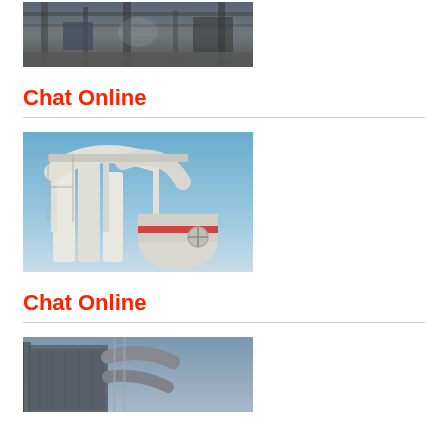[Figure (photo): Industrial facility interior showing heavy machinery, steel structures, and wet floor with pipes and beams]
Chat Online
[Figure (photo): Outdoor industrial grinding mill equipment with white cylindrical structures, pipes, and blue sky background]
Chat Online
[Figure (photo): Industrial dust collection or filtration equipment with metal ducts and structural framework]